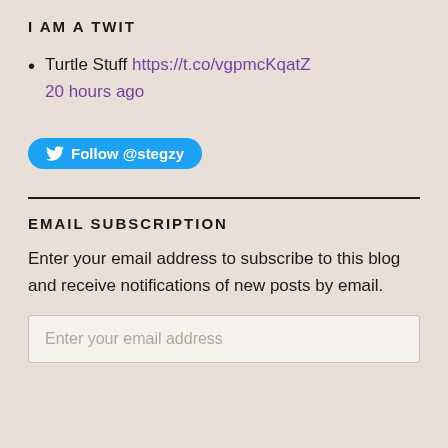I AM A TWIT
Turtle Stuff https://t.co/vgpmcKqatZ 20 hours ago
[Figure (other): Twitter Follow button for @stegzy]
EMAIL SUBSCRIPTION
Enter your email address to subscribe to this blog and receive notifications of new posts by email.
Enter your email address